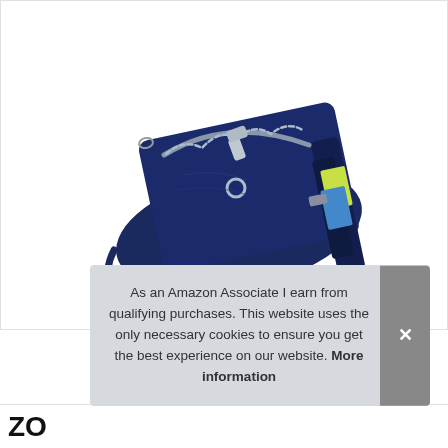[Figure (photo): A navy blue leather wallet/phone case with a zipper compartment, wrist strap, and card slots visible with yellow-green and blue cards. Photographed at an angle on a white background.]
As an Amazon Associate I earn from qualifying purchases. This website uses the only necessary cookies to ensure you get the best experience on our website. More information
ZO